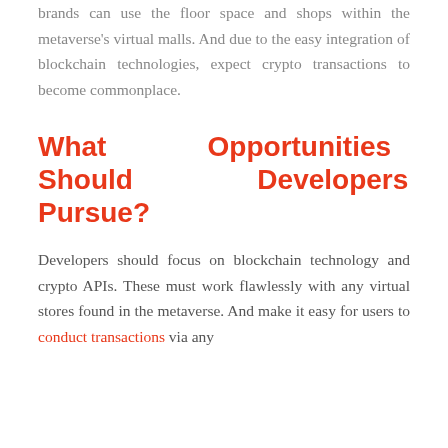brands can use the floor space and shops within the metaverse's virtual malls. And due to the easy integration of blockchain technologies, expect crypto transactions to become commonplace.
What Should Pursue? Opportunities Developers
Developers should focus on blockchain technology and crypto APIs. These must work flawlessly with any virtual stores found in the metaverse. And make it easy for users to conduct transactions via any